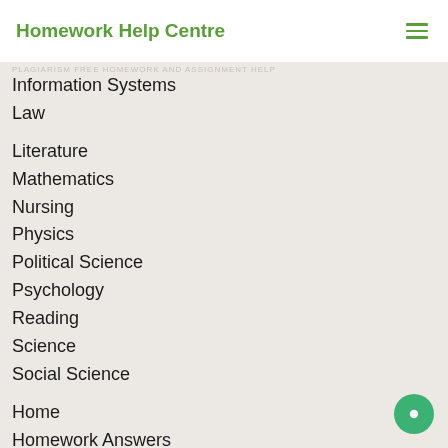Homework Help Centre
PLAGIARISM FREE HOMEWORK AND ASSIGNMENT HELP
Information Systems
Law
Literature
Mathematics
Nursing
Physics
Political Science
Psychology
Reading
Science
Social Science
Home
Homework Answers
Blog
Archive
Tags